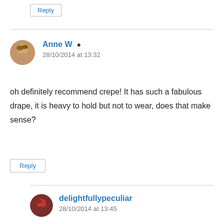Reply
Anne W
28/10/2014 at 13:32
oh definitely recommend crepe! It has such a fabulous drape, it is heavy to hold but not to wear, does that make sense?
Reply
delightfullypeculiar
28/10/2014 at 13:45